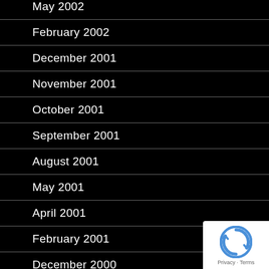May 2002
February 2002
December 2001
November 2001
October 2001
September 2001
August 2001
May 2001
April 2001
February 2001
December 2000
[Figure (logo): reCAPTCHA badge with Privacy and Terms links]